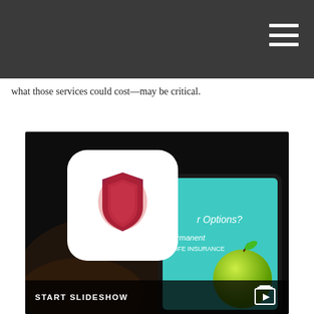what those services could cost—may be critical.
[Figure (photo): A person holding a tablet device in a dark setting. The tablet displays a teal-colored screen with text reading 'r Options?' and an image of a green apple with text 'ermanent LIFE INSURANCE'. A white rounded-rectangle overlay with a shield icon (purple/red) appears centered over the image, acting as a video play button.]
START SLIDESHOW